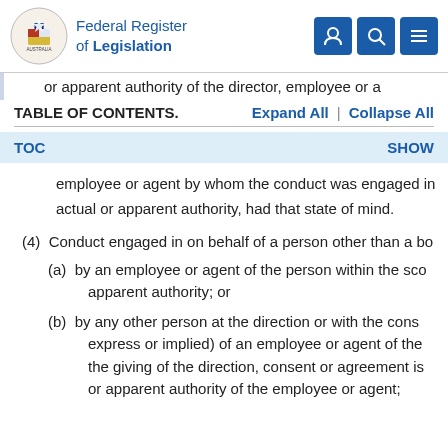Federal Register of Legislation
or apparent authority of the director, employee or a
TABLE OF CONTENTS.
TOC    SHOW
employee or agent by whom the conduct was engaged in actual or apparent authority, had that state of mind.
(4)  Conduct engaged in on behalf of a person other than a bo
(a)  by an employee or agent of the person within the sco apparent authority; or
(b)  by any other person at the direction or with the cons express or implied) of an employee or agent of the the giving of the direction, consent or agreement is or apparent authority of the employee or agent;